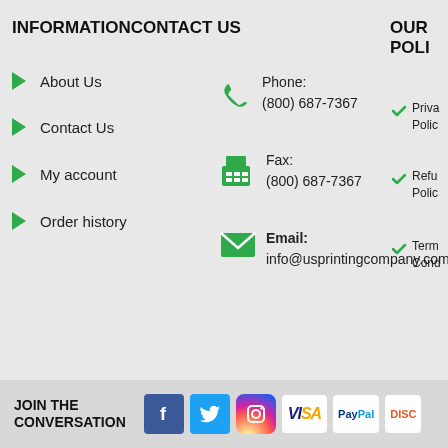INFORMATIONCONTACT US
OUR POLI
About Us
Contact Us
My account
Order history
Phone: (800) 687-7367
Fax: (800) 687-7367
Email: info@usprintingcompany.com
Privacy Policy
Refund Policy
Terms & Conditions
JOIN THE CONVERSATION
[Figure (logo): Facebook, Twitter, Instagram social media icons and Visa, PayPal, Discover payment icons]